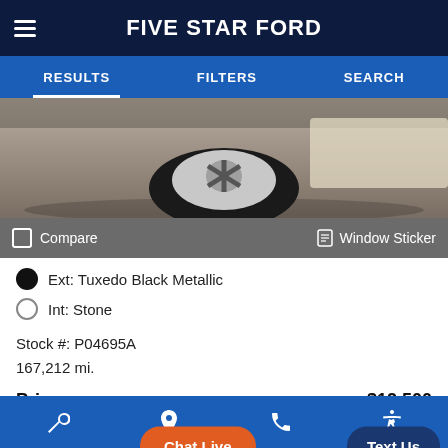FIVE STAR FORD
RESULTS   FILTERS   SEARCH
[Figure (photo): Partial view of a car's wheel and tire on a parking lot surface]
Compare   Window Sticker
Ext: Tuxedo Black Metallic
Int: Stone
Stock #: P04695A
167,212 mi.
Price   $12,500
[Figure (logo): SHOW ME CARFAX logo and check logo]
Wrench icon, Location pin icon, Phone icon, Accessibility icon